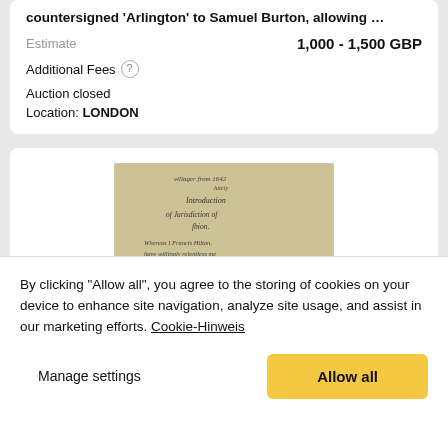countersigned 'Arlington' to Samuel Burton, allowing …
| Estimate | 1,000 - 1,500 GBP |
| --- | --- |
Additional Fees ⓘ
Auction closed
Location: LONDON
[Figure (photo): Photograph of an aged handwritten manuscript document with cursive text, yellowed paper]
By clicking "Allow all", you agree to the storing of cookies on your device to enhance site navigation, analyze site usage, and assist in our marketing efforts. Cookie-Hinweis
Manage settings
Allow all